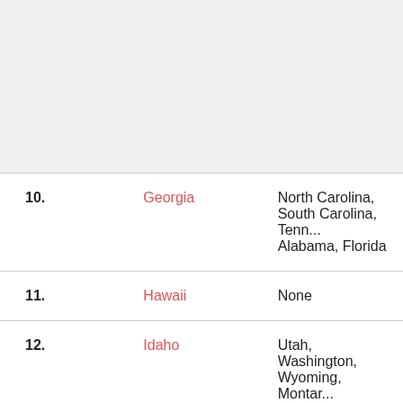| # | State | Bordering States |
| --- | --- | --- |
| 10. | Georgia | North Carolina, South Carolina, Tennessee, Alabama, Florida |
| 11. | Hawaii | None |
| 12. | Idaho | Utah, Washington, Wyoming, Montana, Nevada, Oregon |
| 13. | Illinois | Kentucky, Missouri, Wisconsin, Indiana, Michigan (water border only) |